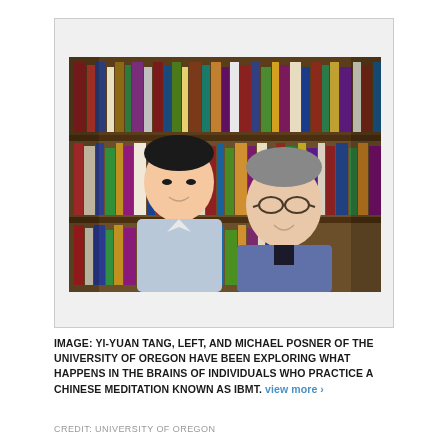[Figure (photo): Two researchers standing side by side in front of a bookshelf filled with colorful books. The man on the left is younger, Asian, wearing a light blue/white shirt. The man on the right is older, wearing glasses and a purple/blue polo shirt.]
IMAGE: YI-YUAN TANG, LEFT, AND MICHAEL POSNER OF THE UNIVERSITY OF OREGON HAVE BEEN EXPLORING WHAT HAPPENS IN THE BRAINS OF INDIVIDUALS WHO PRACTICE A CHINESE MEDITATION KNOWN AS IBMT. view more ›
CREDIT: UNIVERSITY OF OREGON